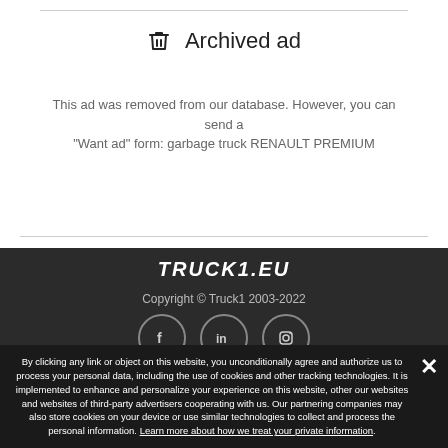Archived ad
This ad was removed from our database. However, you can send a "Want ad" form: garbage truck RENAULT PREMIUM
Place a want ad
[Figure (logo): TRUCK1.EU logo in white italic bold text on dark background]
Copyright © Truck1 2003-2022
[Figure (other): Social media icons: Facebook, LinkedIn, Instagram in circular bordered frames]
By clicking any link or object on this website, you unconditionally agree and authorize us to process your personal data, including the use of cookies and other tracking technologies. It is implemented to enhance and personalize your experience on this website, other our websites and websites of third-party advertisers cooperating with us. Our partnering companies may also store cookies on your device or use similar technologies to collect and process the personal information. Learn more about how we treat your private information.